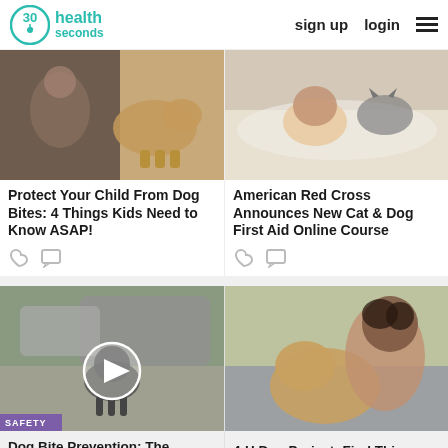30 seconds health | sign up | login
[Figure (photo): Child bent over hugging/playing with a tan dog outdoors]
[Figure (photo): Young woman lying in bed cuddling with a cat]
Protect Your Child From Dog Bites: 4 Things Kids Need to Know ASAP!
American Red Cross Announces New Cat & Dog First Aid Online Course
[Figure (photo): Dog sitting on street in front of a car, with a video play button overlay. Safety badge shown.]
[Figure (photo): Young woman kissing a golden dog on the head outdoors]
Dog Bite Prevention: The
4-H Dog Project: Find This